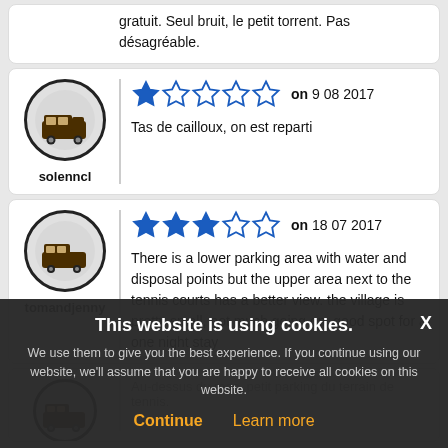gratuit. Seul bruit, le petit torrent. Pas désagréable.
solenncl — 1 star — on 9 08 2017 — Tas de cailloux, on est reparti
tomandjenny — 3 stars — on 18 07 2017 — There is a lower parking area with water and disposal points but the upper area next to the tennis courts has a better view. the village is pretty small, not much going on, good spot for a one night stay
Cookie notice: This website is using cookies. We use them to give you the best experience. If you continue using our website, we'll assume that you are happy to receive all cookies on this website. Continue | Learn more